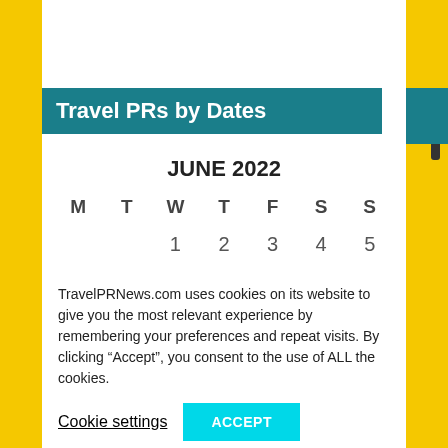Travel PRs by Dates
| M | T | W | T | F | S | S |
| --- | --- | --- | --- | --- | --- | --- |
|  |  | 1 | 2 | 3 | 4 | 5 |
| 6 | 7 | 8 | 9 | 10 | 11 | 12 |
| 13 | 14 | 15 | 16 | 17 | 18 | 19 |
TravelPRNews.com uses cookies on its website to give you the most relevant experience by remembering your preferences and repeat visits. By clicking “Accept”, you consent to the use of ALL the cookies.
Cookie settings | ACCEPT